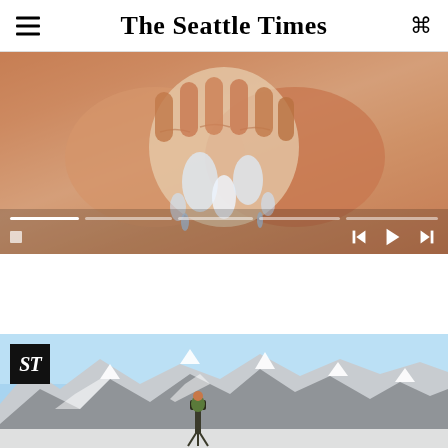The Seattle Times
[Figure (photo): Close-up of person washing their face with water dripping through cupped hands, warm toned skin. Video player controls visible at bottom with progress bar segments and playback buttons.]
[Figure (photo): Snow-covered mountain peaks under blue sky with a photographer and tripod in the foreground. The Seattle Times ST logo in black box in upper left corner.]